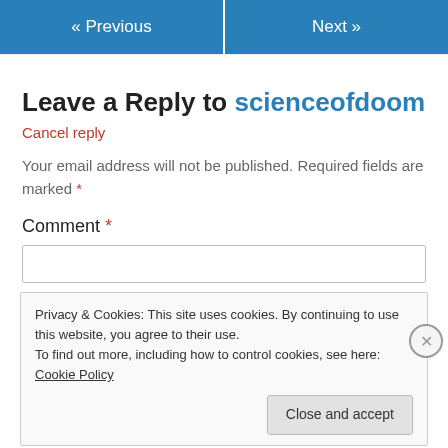« Previous   Next »
Leave a Reply to scienceofdoom
Cancel reply
Your email address will not be published. Required fields are marked *
Comment *
[Figure (screenshot): Comment text area input box (empty)]
Privacy & Cookies: This site uses cookies. By continuing to use this website, you agree to their use.
To find out more, including how to control cookies, see here: Cookie Policy
Close and accept